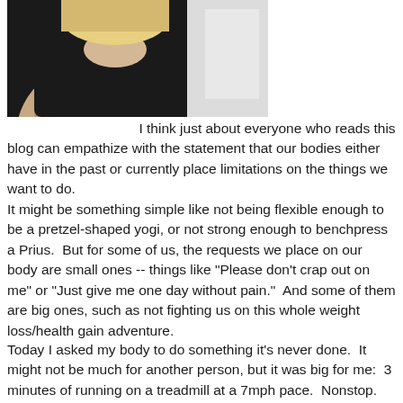[Figure (photo): Partial photo of a woman with blonde hair wearing a black top, cropped at the top of the page with a light background on the right side]
I think just about everyone who reads this blog can empathize with the statement that our bodies either have in the past or currently place limitations on the things we want to do.
It might be something simple like not being flexible enough to be a pretzel-shaped yogi, or not strong enough to benchpress a Prius.  But for some of us, the requests we place on our body are small ones -- things like "Please don't crap out on me" or "Just give me one day without pain."  And some of them are big ones, such as not fighting us on this whole weight loss/health gain adventure.
Today I asked my body to do something it's never done.  It might not be much for another person, but it was big for me:  3 minutes of running on a treadmill at a 7mph pace.  Nonstop.  AND I DIDN'T DIE! I know! In other words: epic.